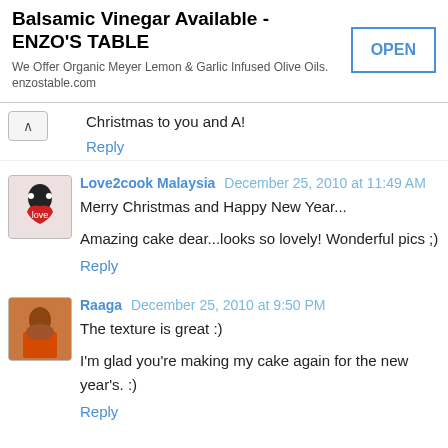[Figure (screenshot): Advertisement banner for Enzo's Table with OPEN button]
Christmas to you and A!
Reply
Love2cook Malaysia  December 25, 2010 at 11:49 AM
Merry Christmas and Happy New Year...

Amazing cake dear...looks so lovely! Wonderful pics ;)
Reply
Raaga  December 25, 2010 at 9:50 PM
The texture is great :)

I'm glad you're making my cake again for the new year's. :)
Reply